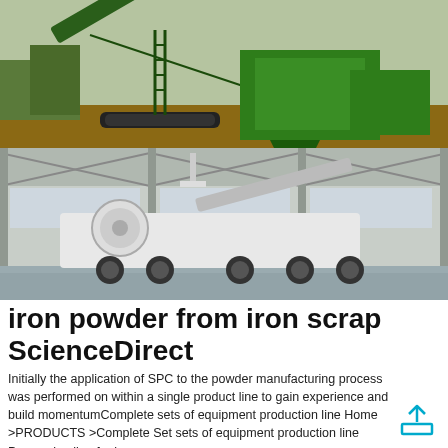[Figure (photo): Green industrial conveyor belt / screening machine on a construction/mining site outdoors, with dirt ground and trees in background.]
[Figure (photo): Large mobile crusher or processing machine on wheels inside an industrial warehouse / exhibition hall with high ceiling and large windows.]
iron powder from iron scrap ScienceDirect
Initially the application of SPC to the powder manufacturing process was performed on within a single product line to gain experience and build momentumComplete sets of equipment production line Home >PRODUCTS >Complete Set sets of equipment production line Processing line for iron ore